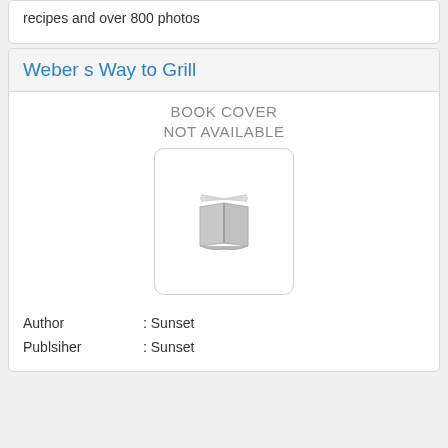recipes and over 800 photos
Weber s Way to Grill
[Figure (illustration): Placeholder book cover image: grey open book icon inside a rounded white box, with text 'BOOK COVER NOT AVAILABLE' above it]
| Author | : Sunset |
| Publsiher | : Sunset |